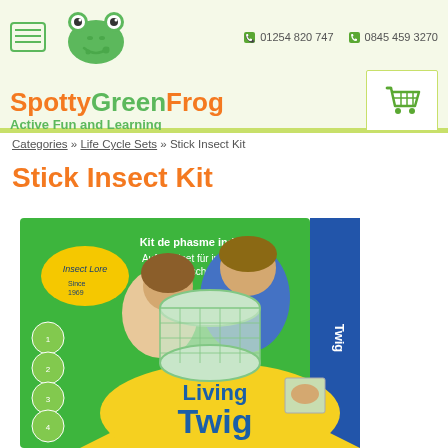SpottyGreenFrog Active Fun and Learning | 01254 820 747 | 0845 459 3270
Categories » Life Cycle Sets » Stick Insect Kit
Stick Insect Kit
[Figure (photo): Product photo of Insect Lore Living Twig Stick Insect Kit box, showing two children holding a cylindrical mesh habitat, with the box cover featuring green background and text in multiple languages including 'Kit de phasme indien', 'Aufzuchtset für indische Stabheuschrecken', and 'Living Twig']